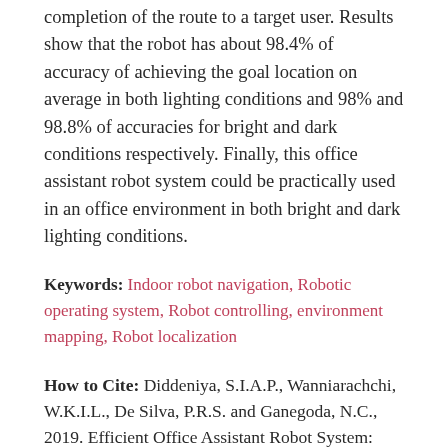completion of the route to a target user. Results show that the robot has about 98.4% of accuracy of achieving the goal location on average in both lighting conditions and 98% and 98.8% of accuracies for bright and dark conditions respectively. Finally, this office assistant robot system could be practically used in an office environment in both bright and dark lighting conditions.
Keywords: Indoor robot navigation, Robotic operating system, Robot controlling, environment mapping, Robot localization
How to Cite: Diddeniya, S.I.A.P., Wanniarachchi, W.K.I.L., De Silva, P.R.S. and Ganegoda, N.C., 2019. Efficient Office Assistant Robot System: Autonomous Navigation and Controlling Based on